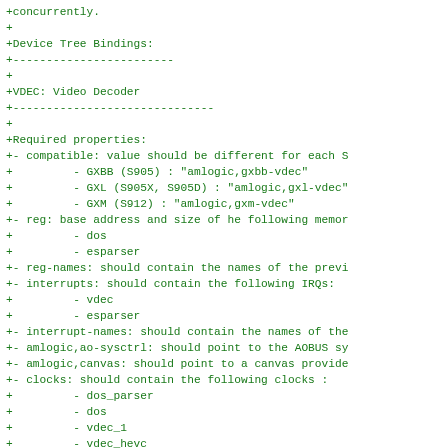+concurrently.
+
+Device Tree Bindings:
+------------------------
+
+VDEC: Video Decoder
+------------------------------
+
+Required properties:
+- compatible: value should be different for each S
+         - GXBB (S905) : "amlogic,gxbb-vdec"
+         - GXL (S905X, S905D) : "amlogic,gxl-vdec"
+         - GXM (S912) : "amlogic,gxm-vdec"
+- reg: base address and size of he following memor
+         - dos
+         - esparser
+- reg-names: should contain the names of the previ
+- interrupts: should contain the following IRQs:
+         - vdec
+         - esparser
+- interrupt-names: should contain the names of the
+- amlogic,ao-sysctrl: should point to the AOBUS sy
+- amlogic,canvas: should point to a canvas provide
+- clocks: should contain the following clocks :
+         - dos_parser
+         - dos
+         - vdec_1
+         - vdec_hevc
+- clock-names: should contain the names of the pre
+- resets: should contain the parser reset
+- reset-names: should be "esparser"